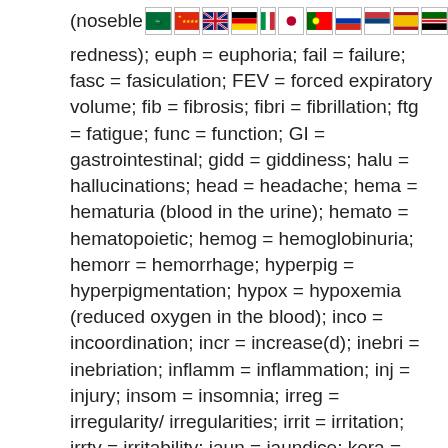[Figure (illustration): Row of country flag icons: Saudi Arabia, China, UK, Germany, Italy, Japan, Portugal, Russia, Serbia, Spain, Kenya]
(noseble... redness); euph = euphoria; fail = failure; fasc = fasiculation; FEV = forced expiratory volume; fib = fibrosis; fibri = fibrillation; ftg = fatigue; func = function; GI = gastrointestinal; gidd = giddiness; halu = hallucinations; head = headache; hema = hematuria (blood in the urine); hemato = hematopoietic; hemog = hemoglobinuria; hemorr = hemorrhage; hyperpig = hyperpigmentation; hypox = hypoxemia (reduced oxygen in the blood); inco = incoordination; incr = increase(d); inebri = inebriation; inflamm = inflammation; inj = injury; insom = insomnia; irreg = irregularity/ irregularities; irrit = irritation; irrty = irritability; jaun = jaundice; kera = keratitis (inflammation of the cornea); lac = lacrimation (discharge of tears);lar = laryngeal; lass = 1assitude (weakness, exhaustion); leth = lethargy (drowsiness or indifference); leucyt = leukocytosis (increased blood leukocytes); leupen = leukopenia (reduced blood leukocytes); li-head = lightheadedness; liq = liquid; local = localized; low-wgt = weight loss; mal = malaise (vague feeling of discomfort); malnut = malnutrition; methemo =